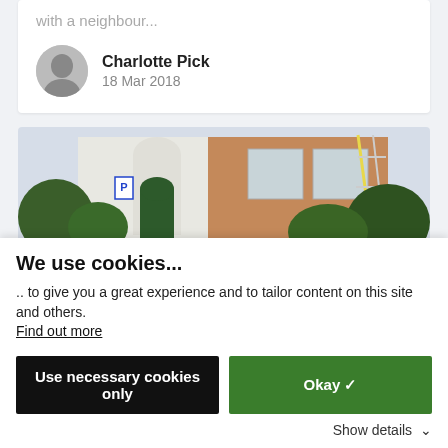with a neighbour...
Charlotte Pick
18 Mar 2018
[Figure (photo): Street view of a Victorian terraced house with a green front door, hedges in front, scaffolding visible, and a car partially visible in the foreground.]
We use cookies...
.. to give you a great experience and to tailor content on this site and others.
Find out more
Use necessary cookies only
Okay 🗸
Show details ∨